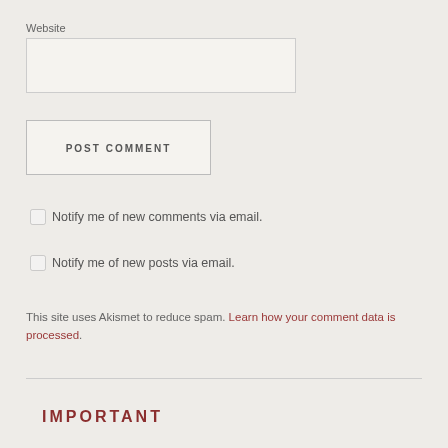Website
POST COMMENT
Notify me of new comments via email.
Notify me of new posts via email.
This site uses Akismet to reduce spam. Learn how your comment data is processed.
IMPORTANT